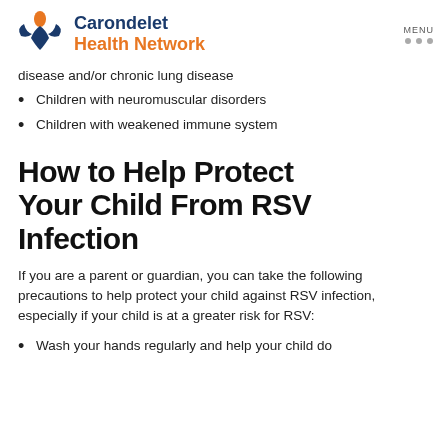Carondelet Health Network
disease and/or chronic lung disease
Children with neuromuscular disorders
Children with weakened immune system
How to Help Protect Your Child From RSV Infection
If you are a parent or guardian, you can take the following precautions to help protect your child against RSV infection, especially if your child is at a greater risk for RSV:
Wash your hands regularly and help your child do